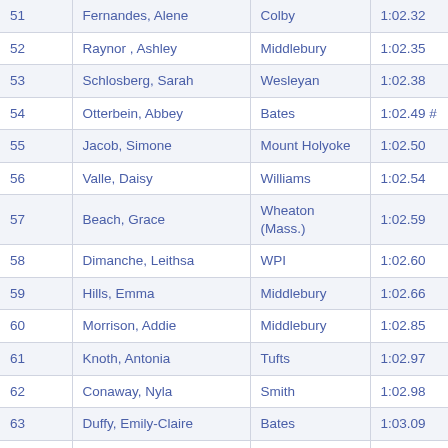| Place | Name | School | Time |
| --- | --- | --- | --- |
| 51 | Fernandes, Alene | Colby | 1:02.32 |
| 52 | Raynor, Ashley | Middlebury | 1:02.35 |
| 53 | Schlosberg, Sarah | Wesleyan | 1:02.38 |
| 54 | Otterbein, Abbey | Bates | 1:02.49 # |
| 55 | Jacob, Simone | Mount Holyoke | 1:02.50 |
| 56 | Valle, Daisy | Williams | 1:02.54 |
| 57 | Beach, Grace | Wheaton (Mass.) | 1:02.59 |
| 58 | Dimanche, Leithsa | WPI | 1:02.60 |
| 59 | Hills, Emma | Middlebury | 1:02.66 |
| 60 | Morrison, Addie | Middlebury | 1:02.85 |
| 61 | Knoth, Antonia | Tufts | 1:02.97 |
| 62 | Conaway, Nyla | Smith | 1:02.98 |
| 63 | Duffy, Emily-Claire | Bates | 1:03.09 |
| 64 | Zakrzewski, Morgan | Wheaton (Mass.) | 1:03.19 # |